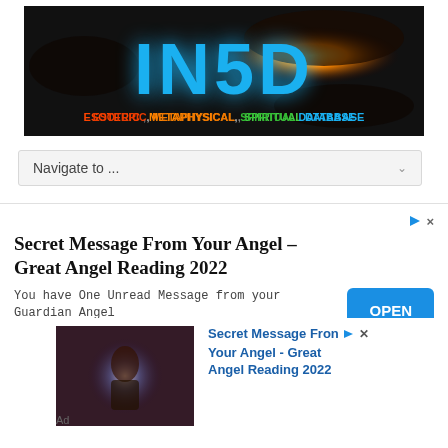[Figure (logo): IN5D logo banner - black background with large blue text 'IN5D' and subtitle 'ESOTERIC, METAPHYSICAL, SPIRITUAL DATABASE' in colorful gradient text, with glowing orange orb held by hands in background]
Navigate to ...
[Figure (other): Advertisement banner: 'Secret Message From Your Angel - Great Angel Reading 2022' with blue OPEN button. Body text: 'You have One Unread Message from your Guardian Angel concerning 2022. Read it now guardian-angel-reading.com/']
[Figure (photo): Advertisement with image of person in dramatic lighting scene, with text 'Secret Message From Your Angel - Great Angel Reading 2022'. 'Ad' label below image.]